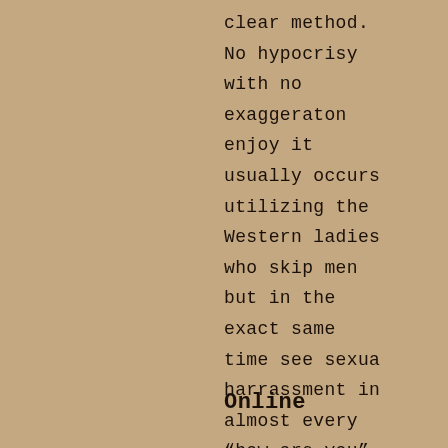clear method. No hypocrisy with no exaggeraton enjoy it usually occurs utilizing the Western ladies who skip men but in the exact same time see sexua harrassment in almost every “how are you”.
Online